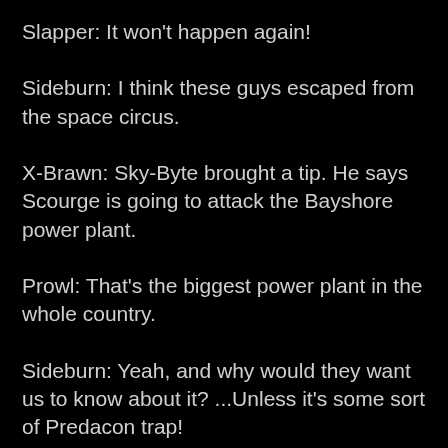Slapper: It won't happen again!
Sideburn: I think these guys escaped from the space circus.
X-Brawn: Sky-Byte brought a tip. He says Scourge is going to attack the Bayshore power plant.
Prowl: That's the biggest power plant in the whole country.
Sideburn: Yeah, and why would they want us to know about it? ...Unless it's some sort of Predacon trap!
Sky-Byte: Why are you so suspicious? That really hurts